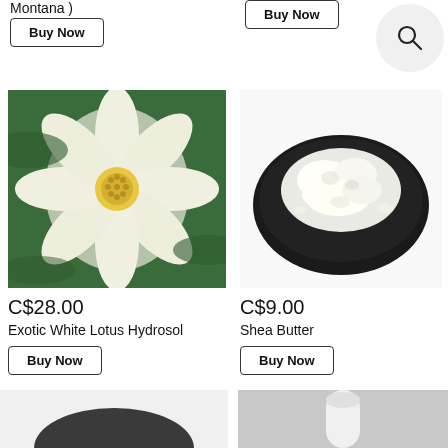Montana )
Buy Now
Buy Now
[Figure (photo): White lotus flower with yellow center against green foliage background]
[Figure (photo): Shea butter chunks on a black plate against white background]
[Figure (other): Search icon inside a circle]
C$28.00
Exotic White Lotus Hydrosol
Buy Now
C$9.00
Shea Butter
Buy Now
[Figure (photo): Partial product image at bottom left, dark object visible]
[Figure (photo): Partial product image at bottom right, white cylindrical object on grey background]